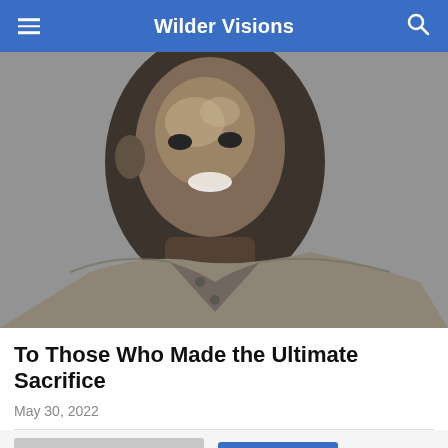Wilder Visions
[Figure (photo): Black and white close-up portrait photo of a smiling young Black man in a military-style collared shirt]
To Those Who Made the Ultimate Sacrifice
May 30, 2022